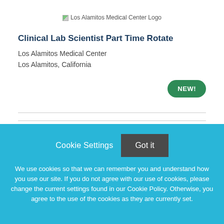[Figure (logo): Los Alamitos Medical Center Logo]
Clinical Lab Scientist Part Time Rotate
Los Alamitos Medical Center
Los Alamitos, California
NEW!
Cookie Settings  Got it
We use cookies so that we can remember you and understand how you use our site. If you do not agree with our use of cookies, please change the current settings found in our Cookie Policy. Otherwise, you agree to the use of the cookies as they are currently set.